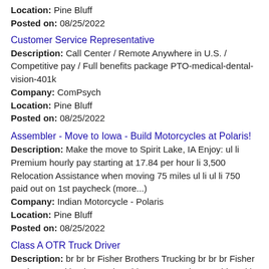Location: Pine Bluff
Posted on: 08/25/2022
Customer Service Representative
Description: Call Center / Remote Anywhere in U.S. / Competitive pay / Full benefits package PTO-medical-dental-vision-401k
Company: ComPsych
Location: Pine Bluff
Posted on: 08/25/2022
Assembler - Move to Iowa - Build Motorcycles at Polaris!
Description: Make the move to Spirit Lake, IA Enjoy: ul li Premium hourly pay starting at 17.84 per hour li 3,500 Relocation Assistance when moving 75 miles ul li ul li 750 paid out on 1st paycheck (more...)
Company: Indian Motorcycle - Polaris
Location: Pine Bluff
Posted on: 08/25/2022
Class A OTR Truck Driver
Description: br br br Fisher Brothers Trucking br br br Fisher Brothers Trucking is a nationwide transportation provider with over 20 years experience
Company: Fisher Brothers Trucking